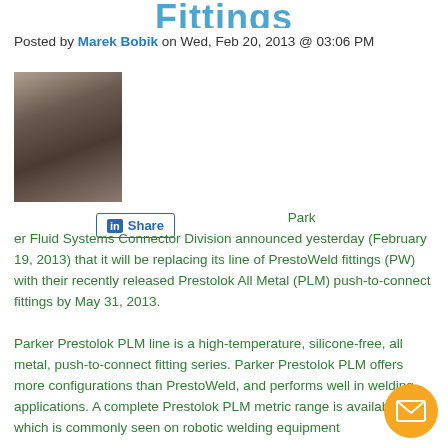Fittings
Posted by Marek Bobik on Wed, Feb 20, 2013 @ 03:06 PM
[Figure (photo): Author photo of Marek Bobik, a man with short hair and stubble, facing slightly left]
[Figure (other): LinkedIn Share button]
Parker Fluid Systems Connector Division announced yesterday (February 19, 2013) that it will be replacing its line of PrestoWeld fittings (PW) with their recently released Prestolok All Metal (PLM) push-to-connect fittings by May 31, 2013.
Parker Prestolok PLM line is a high-temperature, silicone-free, all metal, push-to-connect fitting series. Parker Prestolok PLM offers more configurations than PrestoWeld, and performs well in welding applications. A complete Prestolok PLM metric range is available, which is commonly seen on robotic welding equipment
[Figure (other): Orange email/contact button with envelope icon in bottom right corner]